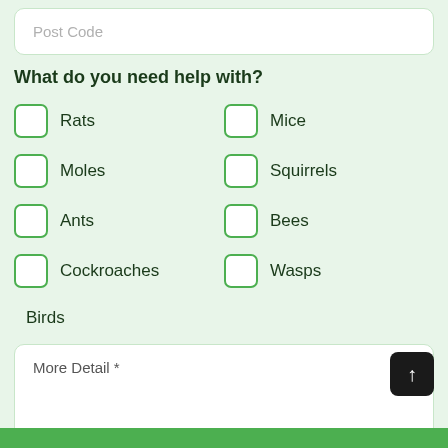Post Code
What do you need help with?
Rats
Mice
Moles
Squirrels
Ants
Bees
Cockroaches
Wasps
Birds
More Detail *